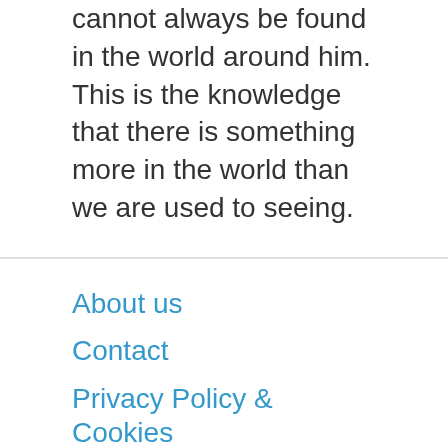cannot always be found in the world around him. This is the knowledge that there is something more in the world than we are used to seeing.
About us
Contact
Privacy Policy & Cookies
ATTENTION TO RIGHT HOLDERS! All materials are posted on the site strictly for informational and educational purposes! If you believe that the posting of any material infringes your copyright, be sure to contact us through the contact form and your